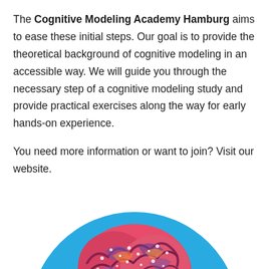The Cognitive Modeling Academy Hamburg aims to ease these initial steps. Our goal is to provide the theoretical background of cognitive modeling in an accessible way. We will guide you through the necessary step of a cognitive modeling study and provide practical exercises along the way for early hands-on experience.
You need more information or want to join? Visit our website.
[Figure (illustration): A colorful stylized brain illustration with warm tones (red, orange, purple) and decorative dot patterns, centered on a bright blue circular background, partially cropped at the bottom of the page.]